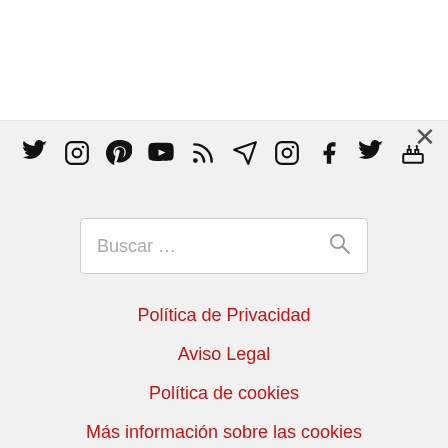[Figure (screenshot): Social media icons row: Twitter, Instagram, Pinterest, YouTube, RSS, Telegram, Instagram, Facebook, Twitter, Birthday cake (10 icons)]
Buscar …
Política de Privacidad
Aviso Legal
Política de cookies
Más información sobre las cookies
Quienes somos